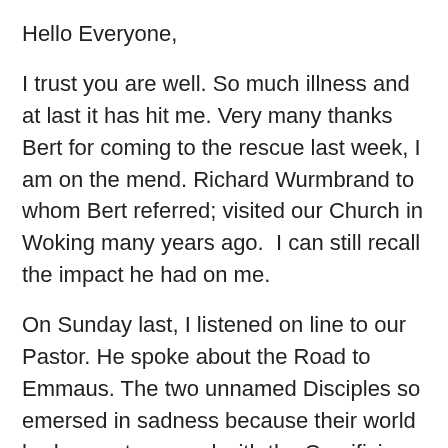Hello Everyone,
I trust you are well. So much illness and at last it has hit me. Very many thanks Bert for coming to the rescue last week, I am on the mend. Richard Wurmbrand to whom Bert referred; visited our Church in Woking many years ago.  I can still recall the impact he had on me.
On Sunday last, I listened on line to our Pastor. He spoke about the Road to Emmaus. The two unnamed Disciples so emersed in sadness because their world had come to an end with the Crucifixion of their Lord and Saviour – so much so that they did not recognise Jesus as He